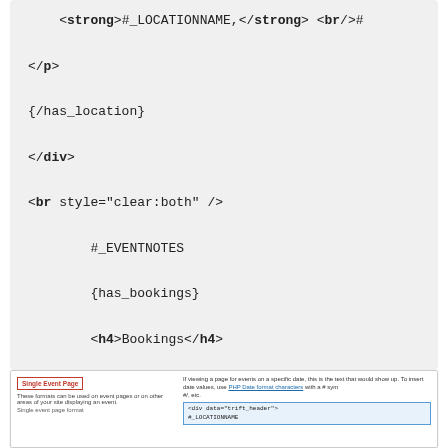[Figure (screenshot): Code block showing template markup with location, div, br, event notes, bookings sections]
[Figure (screenshot): Thumbnail screenshot of a documentation page showing Single Event Page section with format template code]